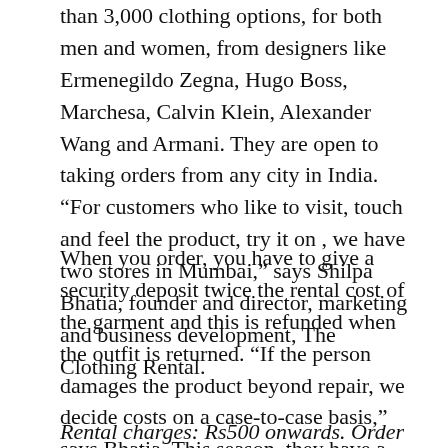than 3,000 clothing options, for both men and women, from designers like Ermenegildo Zegna, Hugo Boss, Marchesa, Calvin Klein, Alexander Wang and Armani. They are open to taking orders from any city in India. “For customers who like to visit, touch and feel the product, try it on , we have two stores in Mumbai,” says Shilpa Bhatia, founder and director, marketing and business development, The Clothing Rental.
When you order, you have to give a security deposit twice the rental cost of the garment and this is refunded when the outfit is returned. “If the person damages the product beyond repair, we decide costs on a case-to-case basis,” says Bhatia. This season, they have a wide range of dresses, including sequined gowns and clutch bags for women, and coloured suits, tuxedos, bow ties, lapel pins and pocket squares for men.
Rental charges: Rs500 onwards. Order on